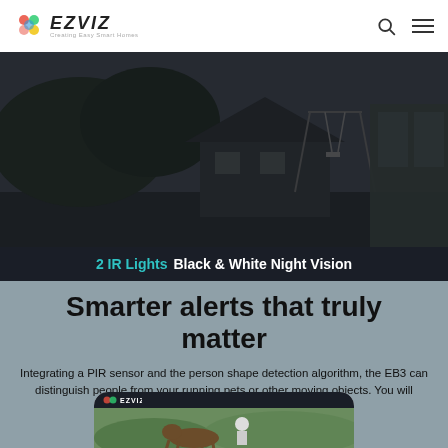EZVIZ - Creating Easy Smart Homes
[Figure (photo): Night vision black and white outdoor scene showing a garden with a house, trees, and a window view]
2 IR Lights  Black & White Night Vision
Smarter alerts that truly matter
Integrating a PIR sensor and the person shape detection algorithm, the EB3 can distinguish people from your running pets or other moving objects. You will receive smarter notifications on important activities.
[Figure (screenshot): EZVIZ app screenshot showing a German Shepherd dog and a child playing in a garden]